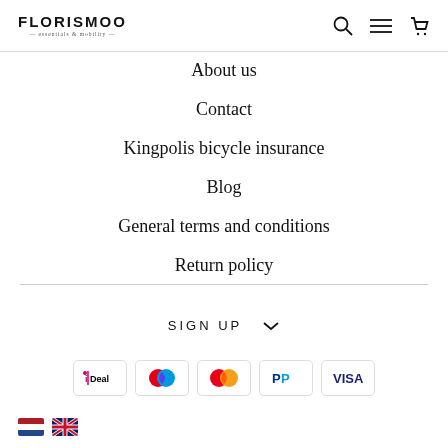FLORISMOO
About us
Contact
Kingpolis bicycle insurance
Blog
General terms and conditions
Return policy
SIGN UP
[Figure (infographic): Payment method icons: iDEAL, Maestro, Mastercard, PayPal, Visa]
[Figure (illustration): Netherlands and UK flag icons]